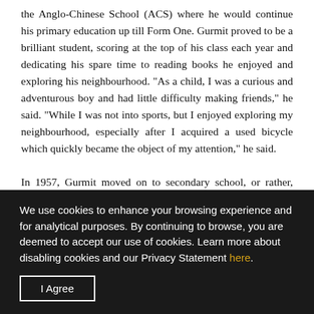the Anglo-Chinese School (ACS) where he would continue his primary education up till Form One. Gurmit proved to be a brilliant student, scoring at the top of his class each year and dedicating his spare time to reading books he enjoyed and exploring his neighbourhood. "As a child, I was a curious and adventurous boy and had little difficulty making friends," he said. "While I was not into sports, but I enjoyed exploring my neighbourhood, especially after I acquired a used bicycle which quickly became the object of my attention," he said.
In 1957, Gurmit moved on to secondary school, or rather, moved
We use cookies to enhance your browsing experience and for analytical purposes. By continuing to browse, you are deemed to accept our use of cookies. Learn more about disabling cookies and our Privacy Statement here.